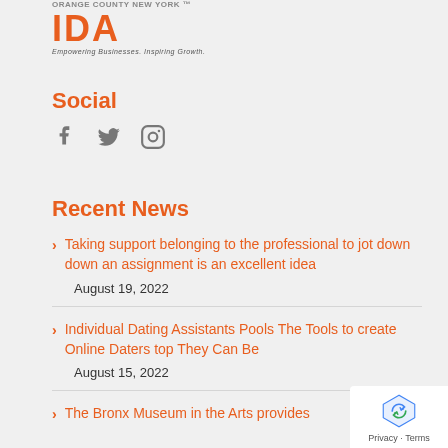[Figure (logo): IDA Orange County New York logo with tagline 'Empowering Businesses. Inspiring Growth.']
Social
[Figure (infographic): Social media icons: Facebook, Twitter, Instagram]
Recent News
Taking support belonging to the professional to jot down down an assignment is an excellent idea — August 19, 2022
Individual Dating Assistants Pools The Tools to create Online Daters top They Can Be — August 15, 2022
The Bronx Museum in the Arts provides...